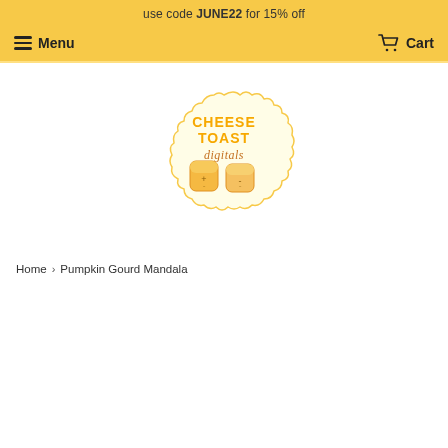use code JUNE22 for 15% off
Menu   Cart
[Figure (logo): Cheese Toast Digitals logo: scalloped circle background with two kawaii toast characters and text 'CHEESE TOAST digitals' in orange and brown tones]
Home › Pumpkin Gourd Mandala